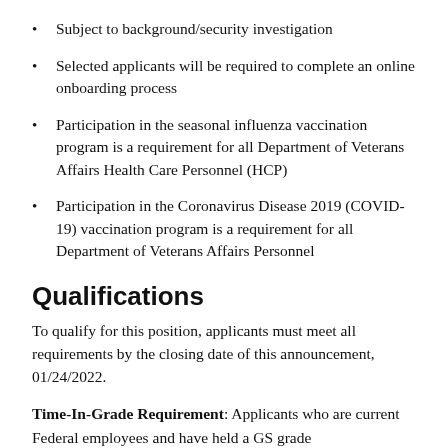Subject to background/security investigation
Selected applicants will be required to complete an online onboarding process
Participation in the seasonal influenza vaccination program is a requirement for all Department of Veterans Affairs Health Care Personnel (HCP)
Participation in the Coronavirus Disease 2019 (COVID-19) vaccination program is a requirement for all Department of Veterans Affairs Personnel
Qualifications
To qualify for this position, applicants must meet all requirements by the closing date of this announcement, 01/24/2022.
Time-In-Grade Requirement: Applicants who are current Federal employees and have held a GS grade